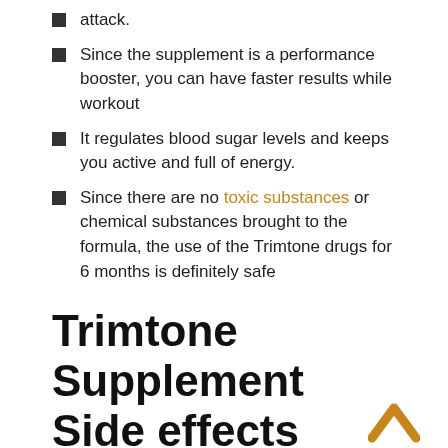attack.
Since the supplement is a performance booster, you can have faster results while workout
It regulates blood sugar levels and keeps you active and full of energy.
Since there are no toxic substances or chemical substances brought to the formula, the use of the Trimtone drugs for 6 months is definitely safe
Trimtone Supplement Side effects
Trimtone Supplement is a absolutely herbal solution, formulated to serve girls dealing with